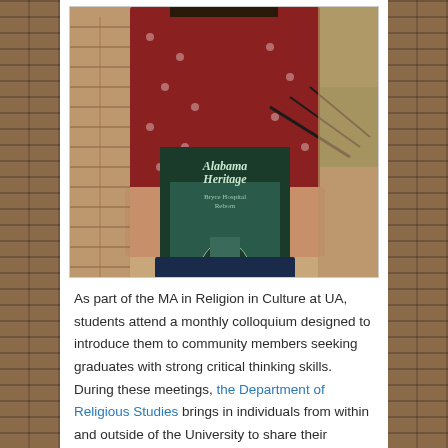[Figure (photo): A person holding a book titled 'Alabama Heritage' with subtitle 'Bryce Hospital Reborn', standing in front of a brick wall with green foliage visible in the background. The person is wearing a dark red polka dot shirt.]
As part of the MA in Religion in Culture at UA, students attend a monthly colloquium designed to introduce them to community members seeking graduates with strong critical thinking skills. During these meetings, the Department of Religious Studies brings in individuals from within and outside of the University to share their